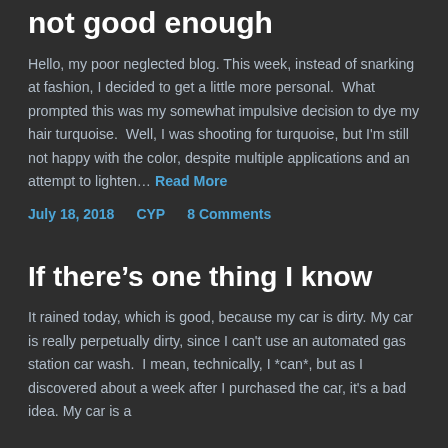not good enough
Hello, my poor neglected blog. This week, instead of snarking at fashion, I decided to get a little more personal.  What prompted this was my somewhat impulsive decision to dye my hair turquoise.  Well, I was shooting for turquoise, but I'm still not happy with the color, despite multiple applications and an attempt to lighten… Read More
July 18, 2018    CYP    8 Comments
If there's one thing I know
It rained today, which is good, because my car is dirty. My car is really perpetually dirty, since I can't use an automated gas station car wash.  I mean, technically, I *can*, but as I discovered about a week after I purchased the car, it's a bad idea. My car is a